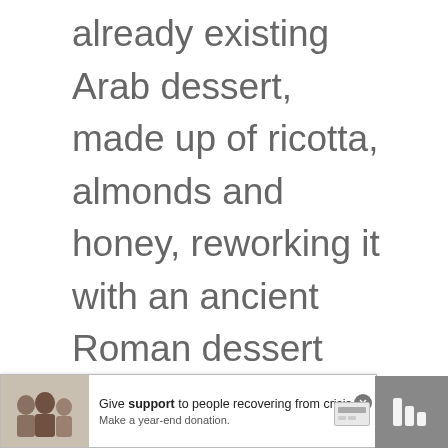already existing Arab dessert, made up of ricotta, almonds and honey, reworking it with an ancient Roman dessert that Cicero describes it as consisting of a farinaceous tube filled with a very sweet milk-based food. Following the end of Arab rule in Sicily, the harems disappeared and it is not inconceivable that one of the favourites converted to the...
[Figure (screenshot): Heart/like button (blue circle with heart icon) and share button, with count 27]
[Figure (screenshot): What's Next panel showing Zuccotto Cake thumbnail and text]
[Figure (screenshot): Advertisement banner: Give support to people recovering from crisis. Make a year-end donation.]